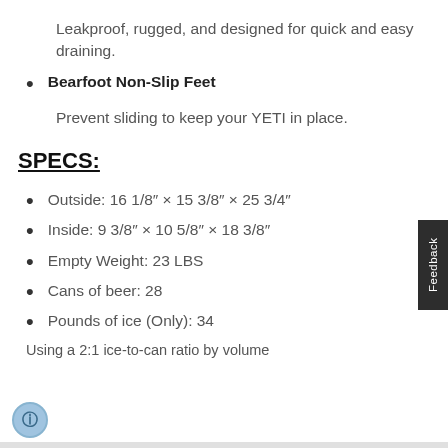Leakproof, rugged, and designed for quick and easy draining.
Bearfoot Non-Slip Feet
Prevent sliding to keep your YETI in place.
SPECS:
Outside: 16 1/8″ × 15 3/8″ × 25 3/4″
Inside: 9 3/8″ × 10 5/8″ × 18 3/8″
Empty Weight: 23 LBS
Cans of beer: 28
Pounds of ice (Only): 34
Using a 2:1 ice-to-can ratio by volume